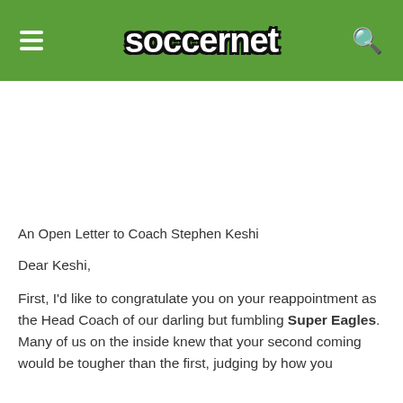soccernet
An Open Letter to Coach Stephen Keshi
Dear Keshi,
First, I'd like to congratulate you on your reappointment as the Head Coach of our darling but fumbling Super Eagles. Many of us on the inside knew that your second coming would be tougher than the first, judging by how you